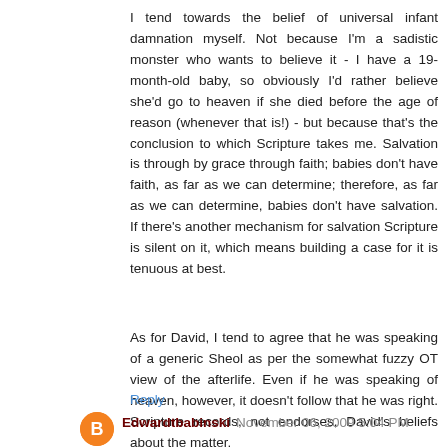I tend towards the belief of universal infant damnation myself. Not because I'm a sadistic monster who wants to believe it - I have a 19-month-old baby, so obviously I'd rather believe she'd go to heaven if she died before the age of reason (whenever that is!) - but because that's the conclusion to which Scripture takes me. Salvation is through by grace through faith; babies don't have faith, as far as we can determine; therefore, as far as we can determine, babies don't have salvation. If there's another mechanism for salvation Scripture is silent on it, which means building a case for it is tenuous at best.
As for David, I tend to agree that he was speaking of a generic Sheol as per the somewhat fuzzy OT view of the afterlife. Even if he was speaking of heaven, however, it doesn't follow that he was right. Scripture records, not endorses, David's beliefs about the matter.
Reply
Edwardtbabinski  November 06, 2009 5:04 PM